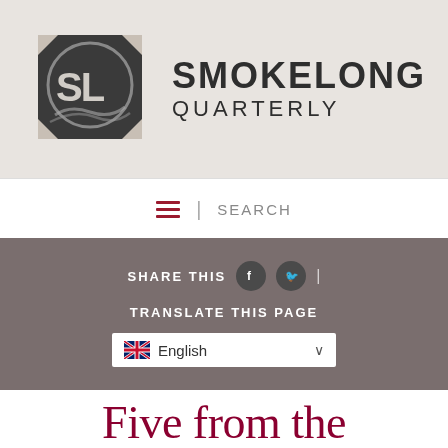[Figure (logo): SmokeLong Quarterly logo: circular emblem with 'SL' letters and smoke motif, next to 'SMOKELONG QUARTERLY' text]
≡ | SEARCH
SHARE THIS 🅕 🅣 | TRANSLATE THIS PAGE English ∨
Five from the Archive — The